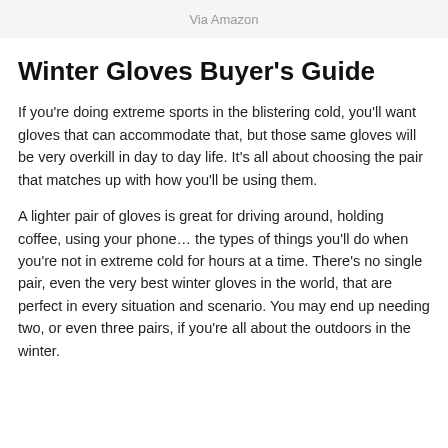Via Amazon
Winter Gloves Buyer's Guide
If you're doing extreme sports in the blistering cold, you'll want gloves that can accommodate that, but those same gloves will be very overkill in day to day life. It's all about choosing the pair that matches up with how you'll be using them.
A lighter pair of gloves is great for driving around, holding coffee, using your phone… the types of things you'll do when you're not in extreme cold for hours at a time. There's no single pair, even the very best winter gloves in the world, that are perfect in every situation and scenario. You may end up needing two, or even three pairs, if you're all about the outdoors in the winter.